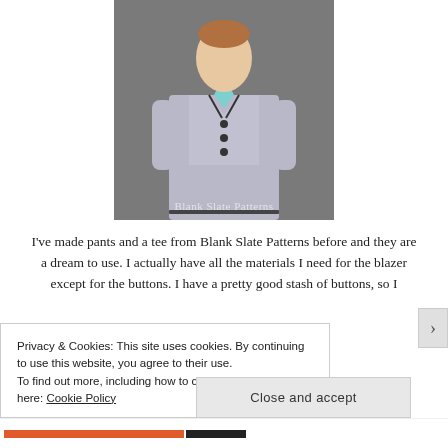[Figure (photo): A young boy dressed in a light grey blazer with dark trim and buttons, wearing a teal shirt and a decorative bow tie. He has one hand in his pocket. A watermark reads 'Blank Slate Patterns' at the bottom of the photo.]
I've made pants and a tee from Blank Slate Patterns before and they are a dream to use. I actually have all the materials I need for the blazer except for the buttons. I have a pretty good stash of buttons, so I
Privacy & Cookies: This site uses cookies. By continuing to use this website, you agree to their use.
To find out more, including how to control cookies, see here: Cookie Policy
Close and accept